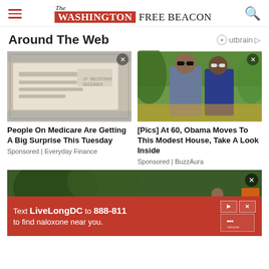The Washington Free Beacon
Around The Web
[Figure (photo): A close-up photo of a government/benefits check or mail envelope with Kansas City MO address]
People On Medicare Are Getting A Big Surprise This Tuesday
Sponsored | Everyday Finance
[Figure (photo): Photo of Barack Obama and Michelle Obama wearing sunglasses outdoors]
[Pics] At 60, Obama Moves To This Modest House, Take A Look Inside
Sponsored | BuzzAura
[Figure (photo): Photo of a street scene, police or investigators near a crime scene with trees and cars]
Text LiveLongDC to 888-811 to find naloxone near you.